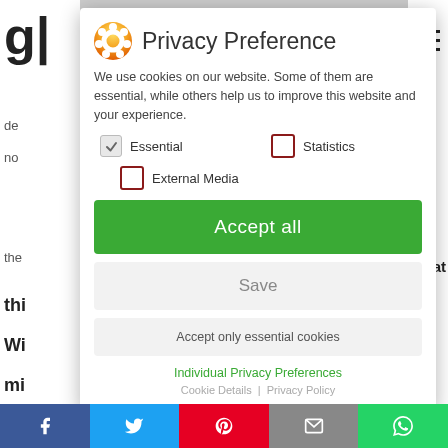Privacy Preference
We use cookies on our website. Some of them are essential, while others help us to improve this website and your experience.
Essential (checked)
Statistics (unchecked)
External Media (unchecked)
Accept all
Save
Accept only essential cookies
Individual Privacy Preferences
Cookie Details | Privacy Policy